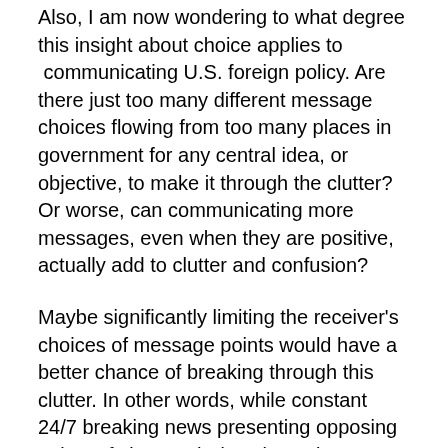Also, I am now wondering to what degree this insight about choice applies to communicating U.S. foreign policy. Are there just too many different message choices flowing from too many places in government for any central idea, or objective, to make it through the clutter? Or worse, can communicating more messages, even when they are positive, actually add to clutter and confusion?
Maybe significantly limiting the receiver's choices of message points would have a better chance of breaking through this clutter. In other words, while constant 24/7 breaking news presenting opposing points of view each day almost insures widespread confusion, should communication from the state department be simply one regularly repeated statement of our objective for each situation. And should that statement